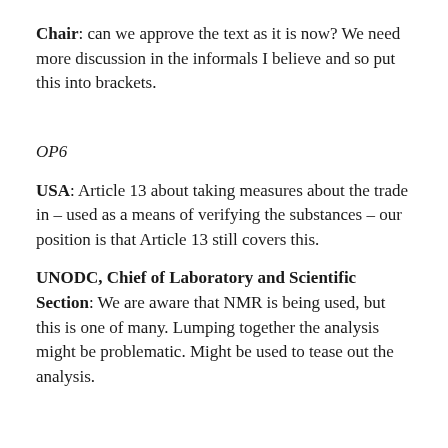Chair: can we approve the text as it is now? We need more discussion in the informals I believe and so put this into brackets.
OP6
USA: Article 13 about taking measures about the trade in – used as a means of verifying the substances – our position is that Article 13 still covers this.
UNODC, Chief of Laboratory and Scientific Section: We are aware that NMR is being used, but this is one of many. Lumping together the analysis might be problematic. Might be used to tease out the analysis.